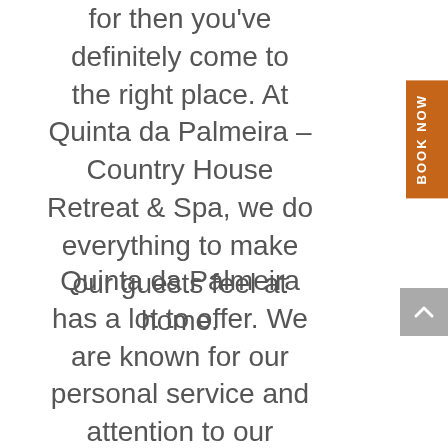for then you've definitely come to the right place. At Quinta da Palmeira – Country House Retreat & Spa, we do everything to make our guests feel at home.
Quinta da Palmeira has a lot to offer. We are known for our personal service and attention to our guests. In addition, our location ensures that you can fully